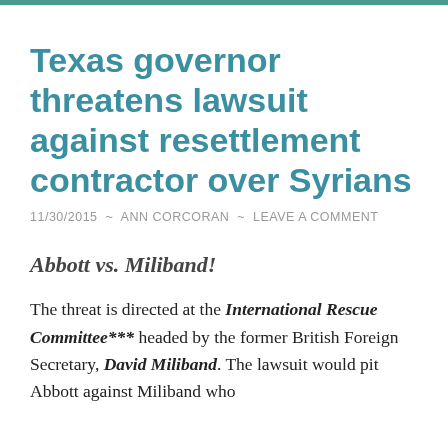Texas governor threatens lawsuit against resettlement contractor over Syrians
11/30/2015 ~ ANN CORCORAN ~ LEAVE A COMMENT
Abbott vs. Miliband!
The threat is directed at the International Rescue Committee*** headed by the former British Foreign Secretary, David Miliband. The lawsuit would pit Abbott against Miliband who